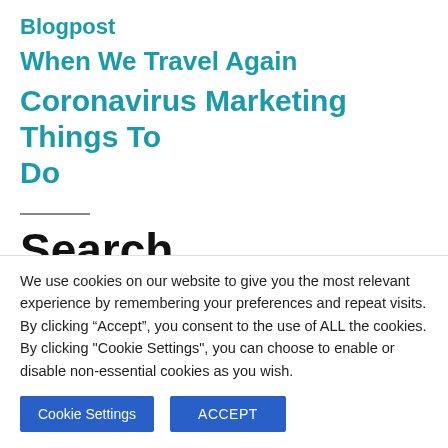Blogpost
When We Travel Again
Coronavirus Marketing Things To Do
Search
We use cookies on our website to give you the most relevant experience by remembering your preferences and repeat visits. By clicking “Accept”, you consent to the use of ALL the cookies. By clicking "Cookie Settings", you can choose to enable or disable non-essential cookies as you wish.
Cookie Settings | ACCEPT